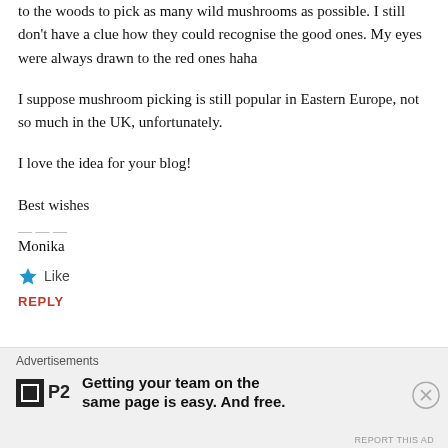to the woods to pick as many wild mushrooms as possible. I still don't have a clue how they could recognise the good ones. My eyes were always drawn to the red ones haha
I suppose mushroom picking is still popular in Eastern Europe, not so much in the UK, unfortunately.
I love the idea for your blog!
Best wishes
Monika
★ Like
REPLY
Advertisements
Getting your team on the same page is easy. And free.